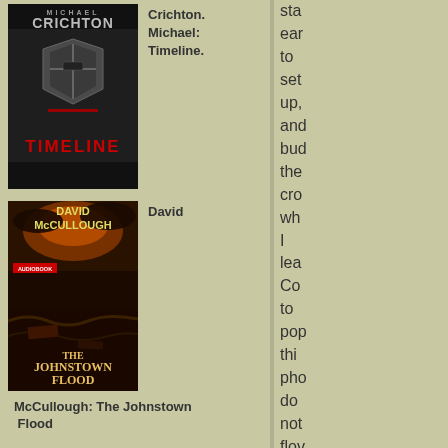[Figure (illustration): Book cover: Michael Crichton - Timeline, showing a knight's helmet/armor in silver tones]
Crichton. Michael: Timeline.
[Figure (illustration): Book cover: David McCullough - The Johnstown Flood, showing flood scene with orange/dark tones, Audiobook edition]
McCullough: The Johnstown Flood
David
BLOGS I READ
Tuan in the US
Trang Transplanted
Duong Lam Anh
Street Kids in Vietnam
sta ear to set up, and bud the cro wh I lea Co to po thi ph do not flo fro the dig